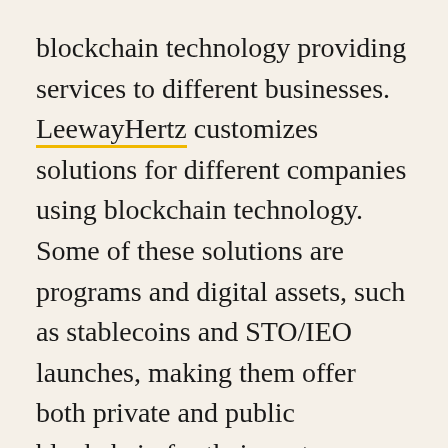blockchain technology providing services to different businesses. LeewayHertz customizes solutions for different companies using blockchain technology. Some of these solutions are programs and digital assets, such as stablecoins and STO/IEO launches, making them offer both private and public blockchain for their customers. LeewayHertz works with other companies that provide platforms for digital assets to come up with software solutions for their clients.
The company provides blockchain platforms, such as Ethereum, Hyper ledger, and Hedera for their clients around the world. The company...